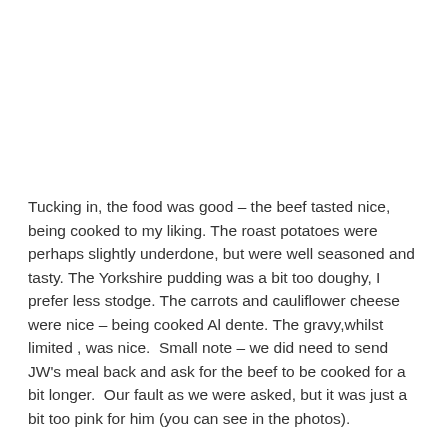Tucking in, the food was good – the beef tasted nice, being cooked to my liking. The roast potatoes were perhaps slightly underdone, but were well seasoned and tasty. The Yorkshire pudding was a bit too doughy, I prefer less stodge. The carrots and cauliflower cheese were nice – being cooked Al dente. The gravy,whilst limited , was nice.  Small note – we did need to send JW's meal back and ask for the beef to be cooked for a bit longer.  Our fault as we were asked, but it was just a bit too pink for him (you can see in the photos).